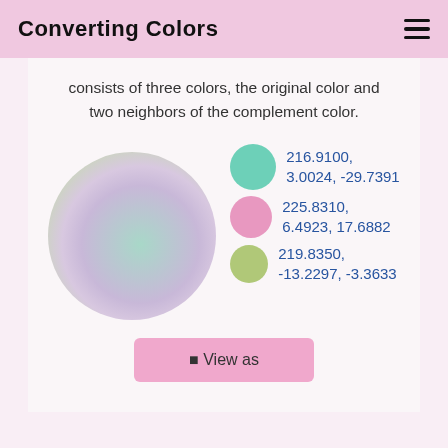Converting Colors
consists of three colors, the original color and two neighbors of the complement color.
[Figure (illustration): Large soft blended circle with green, pink, and teal radial gradient, alongside three color swatches: teal circle with value '216.9100, 3.0024, -29.7391', pink circle with value '225.8310, 6.4923, 17.6882', green circle with value '219.8350, -13.2297, -3.3633']
View as